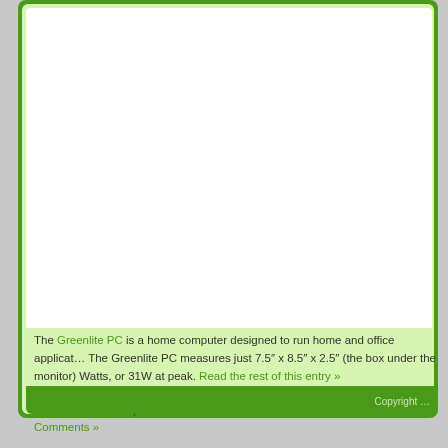The Greenlite PC is a home computer designed to run home and office applications. The Greenlite PC measures just 7.5" x 8.5" x 2.5" (the box under the monitor) Watts, or 31W at peak. Read the rest of this entry »
Posted in Energy Saving PCs | Tags: 1.6GHz, 2GB RAM, Greenlite, Ub
Comments »
Copyright ...